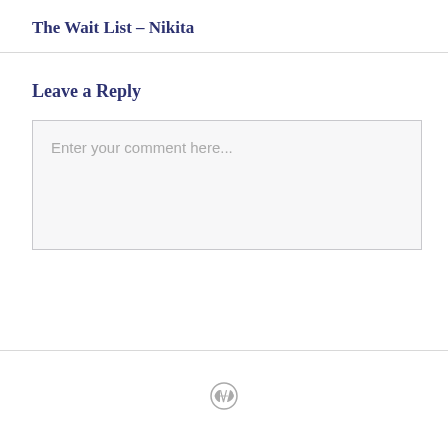The Wait List – Nikita
Leave a Reply
Enter your comment here...
[Figure (logo): WordPress logo mark in gray]